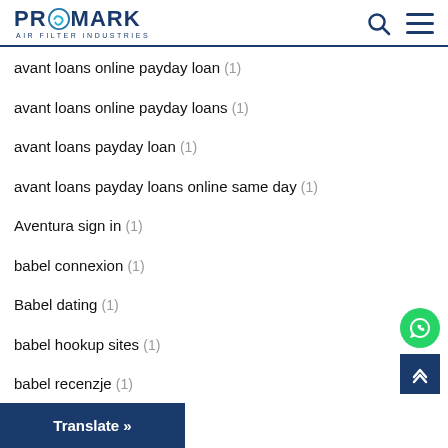PROMARK AIR FILTER INDUSTRIES
avant loans online payday loan (1)
avant loans online payday loans (1)
avant loans payday loan (1)
avant loans payday loans online same day (1)
Aventura sign in (1)
babel connexion (1)
Babel dating (1)
babel hookup sites (1)
babel recenzje (1)
Translate »